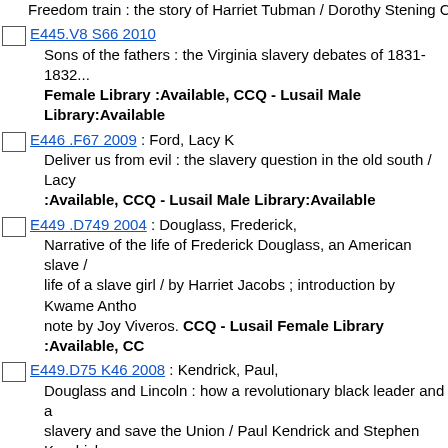Freedom train : the story of Harriet Tubman / Dorothy Stening C...
E445.V8 S66 2010 — Sons of the fathers : the Virginia slavery debates of 1831-1832... Female Library :Available, CCQ - Lusail Male Library:Available
E446 .F67 2009 : Ford, Lacy K — Deliver us from evil : the slavery question in the old south / Lacy... :Available, CCQ - Lusail Male Library:Available
E449 .D749 2004 : Douglass, Frederick, — Narrative of the life of Frederick Douglass, an American slave / ... life of a slave girl / by Harriet Jacobs ; introduction by Kwame Antho... note by Joy Viveros. CCQ - Lusail Female Library :Available, CC...
E449.D75 K46 2008 : Kendrick, Paul, — Douglass and Lincoln : how a revolutionary black leader and a... slavery and save the Union / Paul Kendrick and Stephen Kendrick... :Available, CCQ - Lusail Male Library:Available
E449 .R57 2008 : Risley, Ford. — Abolition and the press : the moral struggle against slavery / Fo... Library :Available, CCQ - Lusail Male Library:Available
E450 .M26 2010 : Malaspina, Ann, — The Underground Railroad : the journey to freedom / Ann Malas... :Available, CCQ - Lusail Male Library:Available
E450 .S65 2008 : Snodgrass, Mary Ellen. — The Underground Railroad : an encyclopedia of people, places... Snodgrass. CCQ - Lusail Female Library :Lib Use Only, CCQ - L...
E451 .M37 2009 : McGlone, Robert E — John Brown's war against slavery / Robert E. McGlone CCQ - L... - Lusail Male Library:Available